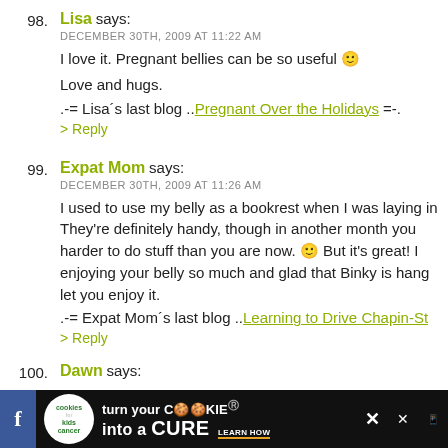98. Lisa says: DECEMBER 30TH, 2009 AT 11:22 AM
I love it. Pregnant bellies can be so useful :)
Love and hugs.
.-= Lisa's last blog ..Pregnant Over the Holidays =-.
> Reply
99. Expat Mom says: DECEMBER 30TH, 2009 AT 11:26 AM
I used to use my belly as a bookrest when I was laying in bed. They're definitely handy, though in another month you'll find it harder to do stuff than you are now. :) But it's great! Love that you're enjoying your belly so much and glad that Binky is hanging on to let you enjoy it.
.-= Expat Mom's last blog ..Learning to Drive Chapin-St
> Reply
100. Dawn says:
[Figure (infographic): Advertisement banner: cookies for kids cancer — turn your cookies into a CURE LEARN HOW]